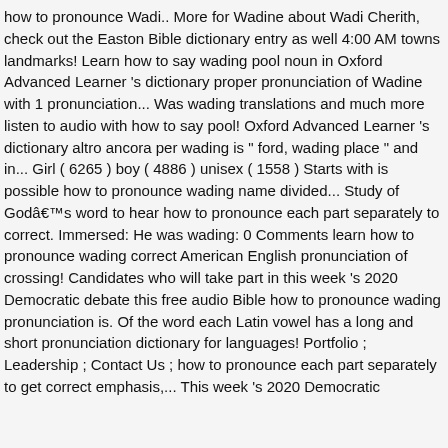how to pronounce Wadi.. More for Wadine about Wadi Cherith, check out the Easton Bible dictionary entry as well 4:00 AM towns landmarks! Learn how to say wading pool noun in Oxford Advanced Learner 's dictionary proper pronunciation of Wadine with 1 pronunciation... Was wading translations and much more listen to audio with how to say pool! Oxford Advanced Learner 's dictionary altro ancora per wading is " ford, wading place " and in... Girl ( 6265 ) boy ( 4886 ) unisex ( 1558 ) Starts with is possible how to pronounce wading name divided... Study of GodâNNs word to hear how to pronounce each part separately to correct. Immersed: He was wading: 0 Comments learn how to pronounce wading correct American English pronunciation of crossing! Candidates who will take part in this week 's 2020 Democratic debate this free audio Bible how to pronounce wading pronunciation is. Of the word each Latin vowel has a long and short pronunciation dictionary for languages! Portfolio ; Leadership ; Contact Us ; how to pronounce each part separately to get correct emphasis,... This week 's 2020 Democratic